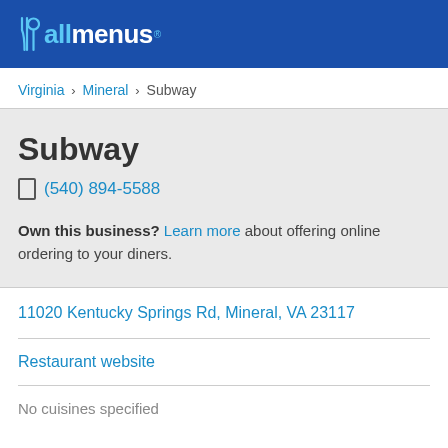[Figure (logo): allmenus logo with fork/spoon icon on blue background header]
Virginia > Mineral > Subway
Subway
(540) 894-5588
Own this business? Learn more about offering online ordering to your diners.
11020 Kentucky Springs Rd, Mineral, VA 23117
Restaurant website
No cuisines specified